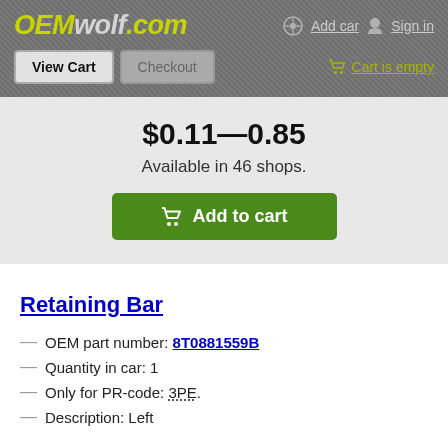OEMwolf.com — Add car  Sign in
View Cart  Checkout  Cart is empty
$0.11—0.85
Available in 46 shops.
Add to cart
Retaining Bar
OEM part number: 8T0881559B
Quantity in car: 1
Only for PR-code: 3PE.
Description: Left
$7.92—23.66